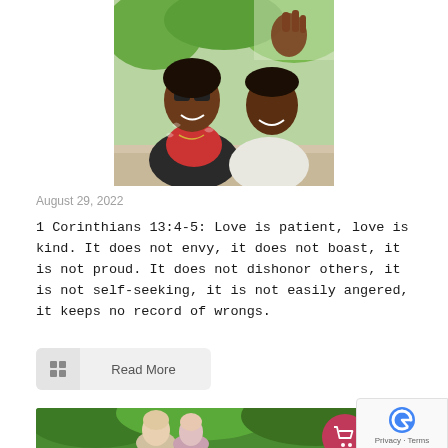[Figure (photo): A smiling couple taking a selfie outdoors. A woman wearing sunglasses, a red top, and a patterned jacket, and a man in a light-colored t-shirt.]
August 29, 2022
1 Corinthians 13:4-5: Love is patient, love is kind. It does not envy, it does not boast, it is not proud. It does not dishonor others, it is not self-seeking, it is not easily angered, it keeps no record of wrongs.
Read More
[Figure (photo): A couple standing outdoors in front of green foliage.]